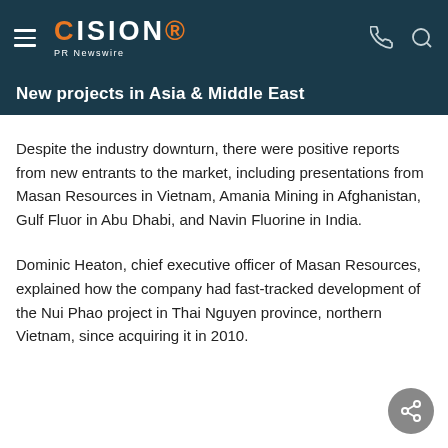CISION PR Newswire
New projects in Asia & Middle East
Despite the industry downturn, there were positive reports from new entrants to the market, including presentations from Masan Resources in Vietnam, Amania Mining in Afghanistan, Gulf Fluor in Abu Dhabi, and Navin Fluorine in India.
Dominic Heaton, chief executive officer of Masan Resources, explained how the company had fast-tracked development of the Nui Phao project in Thai Nguyen province, northern Vietnam, since acquiring it in 2010.